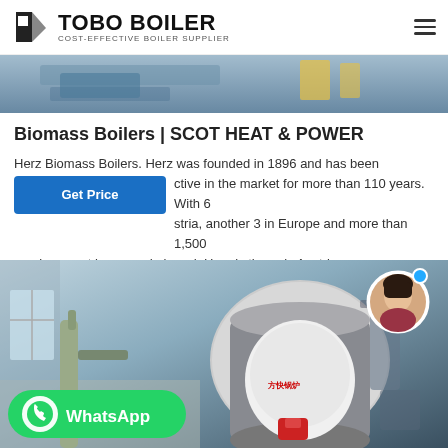TOBO BOILER - COST-EFFECTIVE BOILER SUPPLIER
[Figure (photo): Top image showing industrial boiler equipment]
Biomass Boilers | SCOT HEAT & POWER
Herz Biomass Boilers. Herz was founded in 1896 and has been active in the market for more than 110 years. With 6 [plants] in Austria, another 3 in Europe and more than 1,500 employees at home and abroad, Herz is the only Austrian…
[Figure (photo): Industrial boiler installation in a facility with a WhatsApp contact button overlay and customer service avatar]